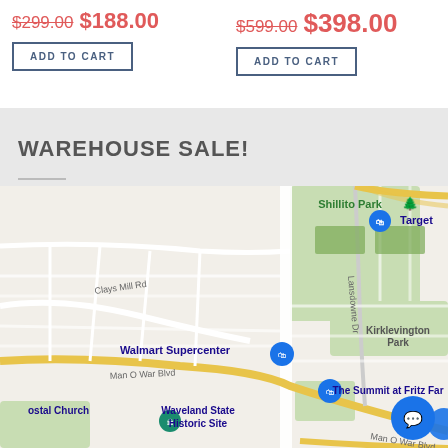$299.00 $188.00
ADD TO CART
$599.00 $398.00
ADD TO CART
WAREHOUSE SALE!
[Figure (map): Google Maps screenshot showing area around Man O War Blvd in Lexington, KY. Visible landmarks include Shillito Park, Target, Walmart Supercenter, Kirklevington Park, The Summit at Fritz Farm, Waveland State Historic Site, and a church. Streets include Clays Mill Rd, Man O War Blvd, and Lansdowne Dr.]